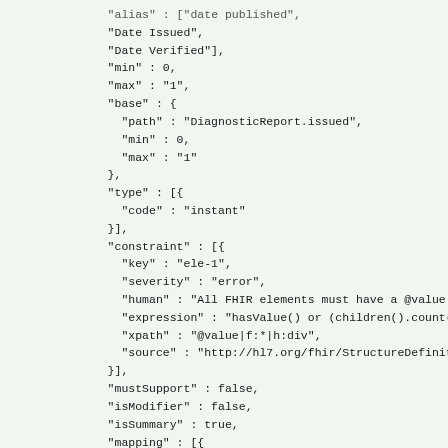JSON/FHIR StructureDefinition code snippet showing fields: Date Issued, Date Verified, min, max, base (path, min, max), type (code: instant), constraint (key, severity, human, expression, xpath, source), mustSupport, isModifier, isSummary, mapping (identity, map)